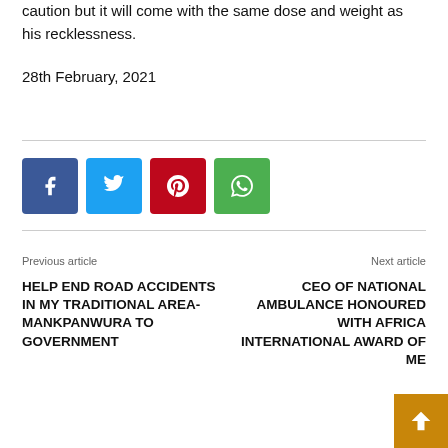caution but it will come with the same dose and weight as his recklessness.
28th February, 2021
[Figure (infographic): Four social media share buttons: Facebook (blue), Twitter (light blue), Pinterest (red), WhatsApp (green)]
Previous article
Next article
HELP END ROAD ACCIDENTS IN MY TRADITIONAL AREA-MANKPANWURA TO GOVERNMENT
CEO OF NATIONAL AMBULANCE HONOURED WITH AFRICA INTERNATIONAL AWARD OF ME…